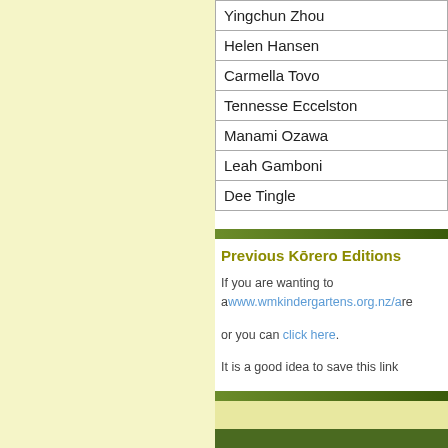| Yingchun Zhou |
| Helen Hansen |
| Carmella Tovo |
| Tennesse Eccelston |
| Manami Ozawa |
| Leah Gamboni |
| Dee Tingle |
Previous Kōrero Editions
If you are wanting to access previous editions please go to www.wmkindergartens.org.nz/archives
or you can click here.
It is a good idea to save this link
[Figure (photo): Bottom section with light yellow and dark green textured grass area]